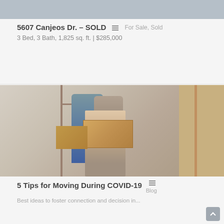[Figure (photo): Top portion of a real estate listing photo, showing an interior room with painted walls]
5607 Canjeos Dr. – SOLD
For Sale, Sold
3 Bed, 3 Bath, 1,825 sq. ft. | $285,000
[Figure (photo): Family moving into a new home, carrying cardboard boxes through a doorway, with a young girl in the foreground smiling and holding a large box]
5 Tips for Moving During COVID-19
Blog
Partial text cut off at bottom of page